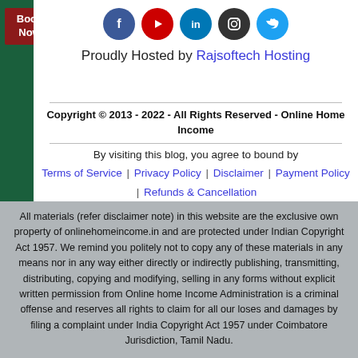[Figure (infographic): Social media icons row: Facebook (blue), YouTube (red), LinkedIn (blue), Instagram (dark), Twitter (light blue) — circular icons]
Proudly Hosted by Rajsoftech Hosting
Copyright © 2013 - 2022 - All Rights Reserved - Online Home Income
By visiting this blog, you agree to bound by
Terms of Service | Privacy Policy | Disclaimer | Payment Policy | Refunds & Cancellation
All materials (refer disclaimer note) in this website are the exclusive own property of onlinehomeincome.in and are protected under Indian Copyright Act 1957. We remind you politely not to copy any of these materials in any means nor in any way either directly or indirectly publishing, transmitting, distributing, copying and modifying, selling in any forms without explicit written permission from Online home Income Administration is a criminal offense and reserves all rights to claim for all our loses and damages by filing a complaint under India Copyright Act 1957 under Coimbatore Jurisdiction, Tamil Nadu.